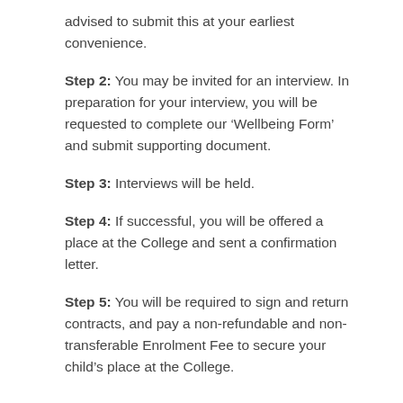advised to submit this at your earliest convenience.
Step 2: You may be invited for an interview. In preparation for your interview, you will be requested to complete our ‘Wellbeing Form’ and submit supporting document.
Step 3: Interviews will be held.
Step 4: If successful, you will be offered a place at the College and sent a confirmation letter.
Step 5: You will be required to sign and return contracts, and pay a non-refundable and non-transferable Enrolment Fee to secure your child’s place at the College.